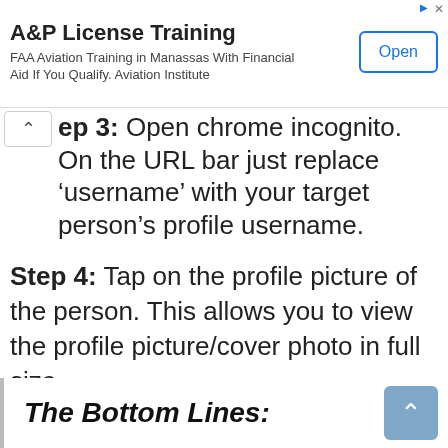[Figure (screenshot): Advertisement banner for A&P License Training. Title: 'A&P License Training', description: 'FAA Aviation Training in Manassas With Financial Aid If You Qualify. Aviation Institute', with an 'Open' button on the right.]
ep 3: Open chrome incognito. On the URL bar just replace ‘username’ with your target person’s profile username.
Step 4: Tap on the profile picture of the person. This allows you to view the profile picture/cover photo in full size.
The Bottom Lines: